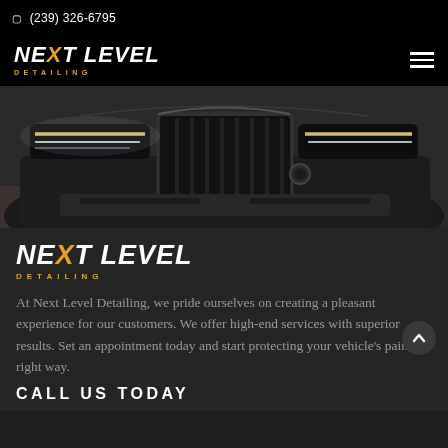(239) 326-6795
[Figure (logo): Next Level Detailing logo in white and orange, italic bold text]
[Figure (photo): Close-up front view of a dark luxury car (BMW) with bright LED headlights in a showroom or garage setting]
[Figure (logo): Next Level Detailing logo in white and orange, larger version on dark background]
At Next Level Detailing, we pride ourselves on creating a pleasant experience for our customers. We offer high-end services with superior results. Set an appointment today and start protecting your vehicle's paint the right way.
CALL US TODAY